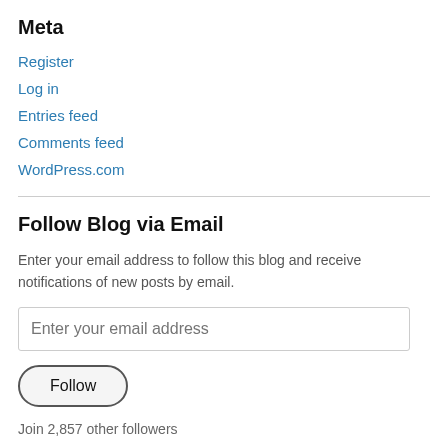Meta
Register
Log in
Entries feed
Comments feed
WordPress.com
Follow Blog via Email
Enter your email address to follow this blog and receive notifications of new posts by email.
Enter your email address
Follow
Join 2,857 other followers